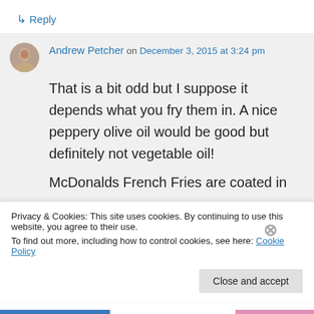↳ Reply
Andrew Petcher on December 3, 2015 at 3:24 pm
That is a bit odd but I suppose it depends what you fry them in. A nice peppery olive oil would be good but definitely not vegetable oil!
McDonalds French Fries are coated in
Privacy & Cookies: This site uses cookies. By continuing to use this website, you agree to their use.
To find out more, including how to control cookies, see here: Cookie Policy
Close and accept